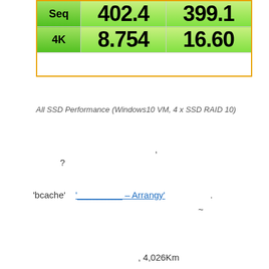[Figure (table-as-image): CrystalDiskMark benchmark results table showing Seq read 402.4, write 399.1, 4K read 8.754, write 16.60, with an empty row at bottom. Table has green gradient cells.]
All SSD Performance (Windows10 VM, 4 x SSD RAID 10)
'
?
'bcache'    '_________ – Arrangy'    .
~
, 4,026Km